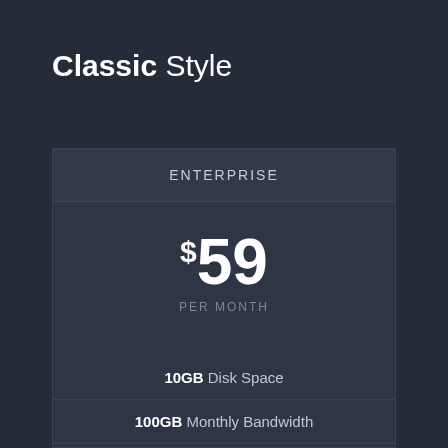Classic Style
ENTERPRISE
$59 PER MONTH
10GB Disk Space
100GB Monthly Bandwidth
20 Email Accounts
Unlimited subdomains